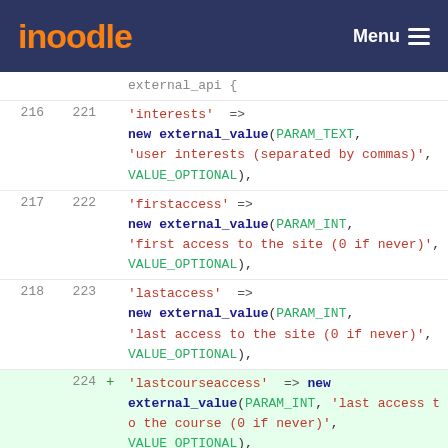moodle  Menu
Code diff showing PHP external API definitions for user fields: interests, firstaccess, lastaccess, lastcourseaccess, description
[Figure (screenshot): Moodle PHP code diff showing lines 216-225 with added line 224 for lastcourseaccess field definition using external_value(PARAM_INT, 'last access to the course (0 if never)', VALUE_OPTIONAL)]